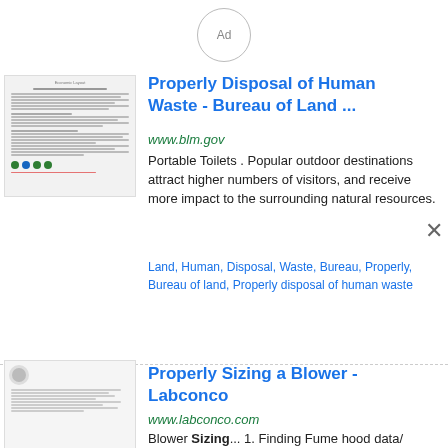[Figure (screenshot): Ad circle badge at top center of page]
[Figure (screenshot): Thumbnail preview of BLM document page]
Properly Disposal of Human Waste - Bureau of Land ...
www.blm.gov
Portable Toilets . Popular outdoor destinations attract higher numbers of visitors, and receive more impact to the surrounding natural resources.
Land, Human, Disposal, Waste, Bureau, Properly, Bureau of land, Properly disposal of human waste
[Figure (screenshot): Thumbnail preview of Labconco document page]
Properly Sizing a Blower - Labconco
www.labconco.com
Blower Sizing... 1. Finding Fume hood data/